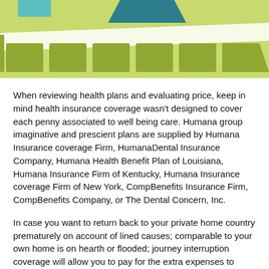[Figure (illustration): Decorative header graphic with teal/dark teal shape at top, light green background, and a row of olive/yellow-green rectangles resembling tabs or cards, with a white diagonal band overlay.]
When reviewing health plans and evaluating price, keep in mind health insurance coverage wasn't designed to cover each penny associated to well being care. Humana group imaginative and prescient plans are supplied by Humana Insurance coverage Firm, HumanaDental Insurance Company, Humana Health Benefit Plan of Louisiana, Humana Insurance Firm of Kentucky, Humana Insurance coverage Firm of New York, CompBenefits Insurance Firm, CompBenefits Company, or The Dental Concern, Inc.
In case you want to return back to your private home country prematurely on account of lined causes; comparable to your own home is on hearth or flooded; journey interruption coverage will allow you to pay for the extra expenses to make vital preparations.